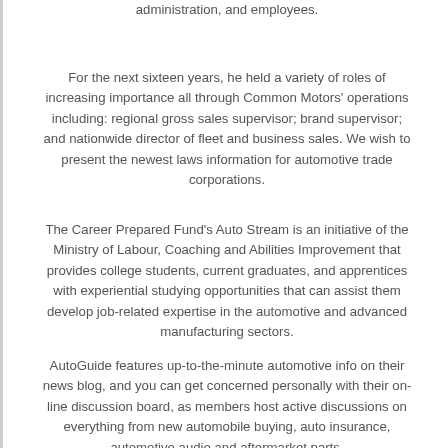administration, and employees.
For the next sixteen years, he held a variety of roles of increasing importance all through Common Motors' operations including: regional gross sales supervisor; brand supervisor; and nationwide director of fleet and business sales. We wish to present the newest laws information for automotive trade corporations.
The Career Prepared Fund's Auto Stream is an initiative of the Ministry of Labour, Coaching and Abilities Improvement that provides college students, current graduates, and apprentices with experiential studying opportunities that can assist them develop job-related expertise in the automotive and advanced manufacturing sectors.
AutoGuide features up-to-the-minute automotive info on their news blog, and you can get concerned personally with their on-line discussion board, as members host active discussions on everything from new automobile buying, auto insurance, automotive audio and aftermarket parts.